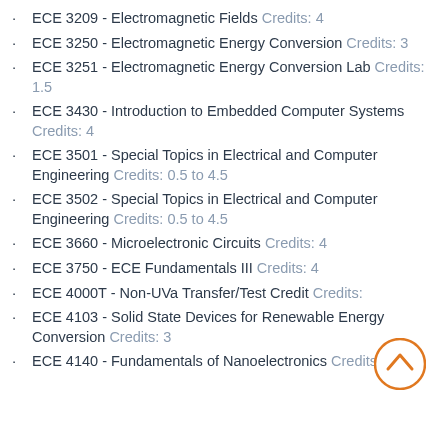ECE 3209 - Electromagnetic Fields Credits: 4
ECE 3250 - Electromagnetic Energy Conversion Credits: 3
ECE 3251 - Electromagnetic Energy Conversion Lab Credits: 1.5
ECE 3430 - Introduction to Embedded Computer Systems Credits: 4
ECE 3501 - Special Topics in Electrical and Computer Engineering Credits: 0.5 to 4.5
ECE 3502 - Special Topics in Electrical and Computer Engineering Credits: 0.5 to 4.5
ECE 3660 - Microelectronic Circuits Credits: 4
ECE 3750 - ECE Fundamentals III Credits: 4
ECE 4000T - Non-UVa Transfer/Test Credit Credits:
ECE 4103 - Solid State Devices for Renewable Energy Conversion Credits: 3
ECE 4140 - Fundamentals of Nanoelectronics Credits: 3